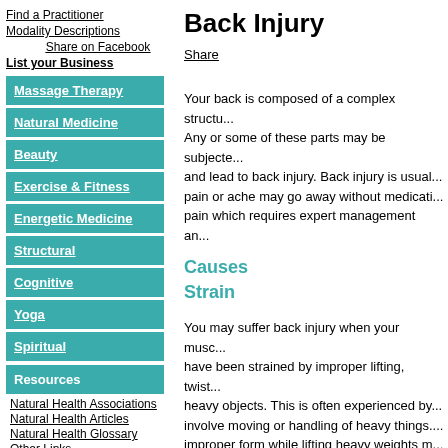Find a Practitioner
Modality Descriptions
Share on Facebook
List your Business
Massage Therapy
Natural Medicine
Beauty
Exercise & Fitness
Energetic Medicine
Structural
Cognitive
Yoga
Spiritual
Resources
Natural Health Associations
Natural Health Articles
Natural Health Glossary
Other Links
Link to Us
Back Injury
Share
Your back is composed of a complex structure. Any or some of these parts may be subjected to and lead to back injury. Back injury is usually pain or ache may go away without medication pain which requires expert management an
Causes
Strain
You may suffer back injury when your muscles have been strained by improper lifting, twisting heavy objects. This is often experienced by involve moving or handling of heavy things. improper form while lifting heavy weights may back injury.
Structural
Ruptured disks